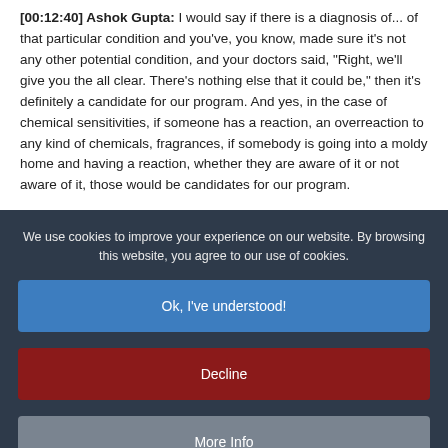[00:12:40] Ashok Gupta: I would say if there is a diagnosis of... of that particular condition and you've, you know, made sure it's not any other potential condition, and your doctors said, "Right, we'll give you the all clear. There's nothing else that it could be," then it's definitely a candidate for our program. And yes, in the case of chemical sensitivities, if someone has a reaction, an overreaction to any kind of chemicals, fragrances, if somebody is going into a moldy home and having a reaction, whether they are aware of it or not aware of it, those would be candidates for our program.
We use cookies to improve your experience on our website. By browsing this website, you agree to our use of cookies.
Ok, I've understood!
Decline
More Info